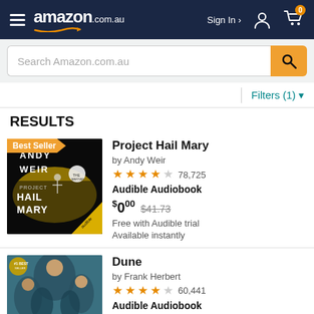amazon.com.au — Sign In — Cart (0)
Search Amazon.com.au
Filters (1)
RESULTS
[Figure (photo): Book cover of Project Hail Mary by Andy Weir — dark background with yellow typography and astronaut figure. 'Only From Audible' badge visible.]
Best Seller
Project Hail Mary
by Andy Weir
4.5 stars — 78,725 reviews
Audible Audiobook
$000  $41.73  Free with Audible trial  Available instantly
[Figure (photo): Book/movie cover of Dune by Frank Herbert — teal background with movie cast imagery.]
Dune
by Frank Herbert
4.5 stars — 60,441 reviews
Audible Audiobook